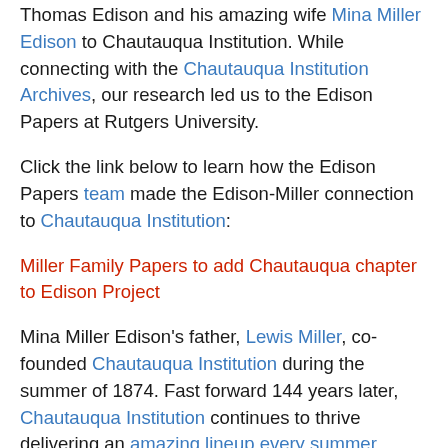Thomas Edison and his amazing wife Mina Miller Edison to Chautauqua Institution. While connecting with the Chautauqua Institution Archives, our research led us to the Edison Papers at Rutgers University.
Click the link below to learn how the Edison Papers team made the Edison-Miller connection to Chautauqua Institution:
Miller Family Papers to add Chautauqua chapter to Edison Project
Mina Miller Edison's father, Lewis Miller, co-founded Chautauqua Institution during the summer of 1874. Fast forward 144 years later, Chautauqua Institution continues to thrive delivering an amazing lineup every summer season. Chautauqua Institution welcomes over